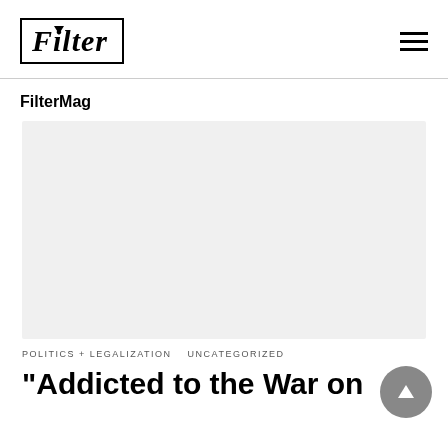Filter
FilterMag
[Figure (illustration): Light gray rectangular image placeholder]
POLITICS + LEGALIZATION   UNCATEGORIZED
“Addicted to the War on